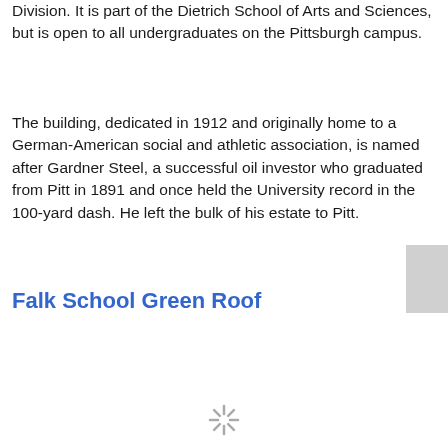Division. It is part of the Dietrich School of Arts and Sciences, but is open to all undergraduates on the Pittsburgh campus.
The building, dedicated in 1912 and originally home to a German-American social and athletic association, is named after Gardner Steel, a successful oil investor who graduated from Pitt in 1891 and once held the University record in the 100-yard dash. He left the bulk of his estate to Pitt.
Falk School Green Roof
[Figure (other): Gray sidebar tab on the right edge of the page]
[Figure (other): Loading spinner icon at the bottom center of the page]